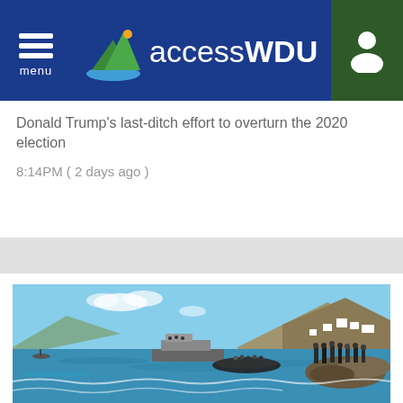menu | accessWDUN
Donald Trump's last-ditch effort to overturn the 2020 election
8:14PM ( 2 days ago )
[Figure (photo): People standing on rocky shore with boats on water, hilly coastal landscape in background under blue sky]